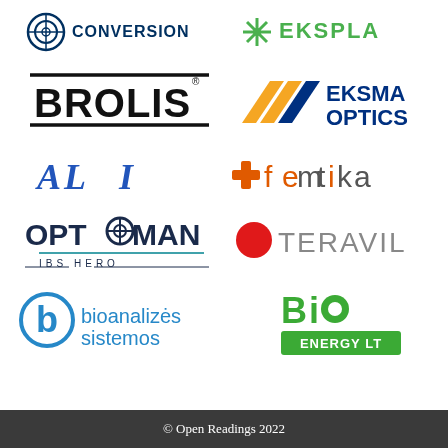[Figure (logo): CONVERSION logo (circular icon with text CONVERSION)]
[Figure (logo): EKSPLA logo (green snowflake icon with text EKSPLA in green)]
[Figure (logo): BROLIS logo (bold black text with registered trademark, horizontal rules above and below)]
[Figure (logo): EKSMA OPTICS logo (orange/navy chevron icon with text EKSMA OPTICS in navy)]
[Figure (logo): ALT logo (partially visible, blue serif letters)]
[Figure (logo): femtika logo (orange/grey stylized text with snowflake icon)]
[Figure (logo): OPTOMAN IBS HERO logo (dark blue bold text with gear O, teal underline, IBS HERO subtitle)]
[Figure (logo): TERAVIL logo (red circle dot with grey text TERAVIL)]
[Figure (logo): bioanalizės sistemos logo (blue circular b icon with blue text)]
[Figure (logo): Bio Energy LT logo (green stylized text Bio with ENERGY LT in white on green rect)]
© Open Readings 2022